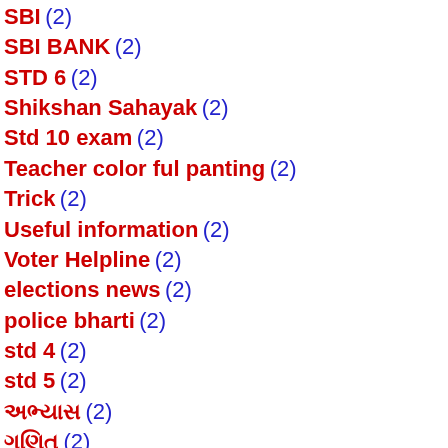SBI (2)
SBI BANK (2)
STD 6 (2)
Shikshan Sahayak (2)
Std 10 exam (2)
Teacher color ful panting (2)
Trick (2)
Useful information (2)
Voter Helpline (2)
elections news (2)
police bharti (2)
std 4 (2)
std 5 (2)
અભ્યાસ (2)
ગણિત (2)
ગુજરાત (2)
જ્ઞાન (2)
રમત-ગમત (2)